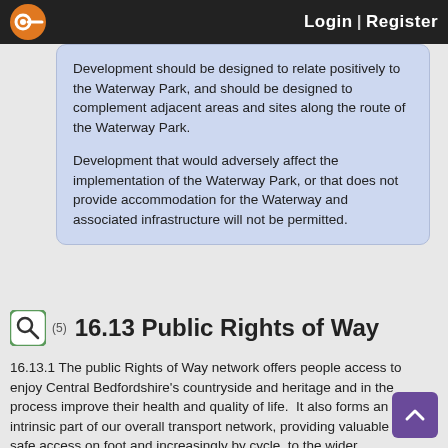Login | Register
multifunctional green corridor.
Development should be designed to relate positively to the Waterway Park, and should be designed to complement adjacent areas and sites along the route of the Waterway Park.

Development that would adversely affect the implementation of the Waterway Park, or that does not provide accommodation for the Waterway and associated infrastructure will not be permitted.
16.13 Public Rights of Way
16.13.1 The public Rights of Way network offers people access to enjoy Central Bedfordshire's countryside and heritage and in the process improve their health and quality of life.  It also forms an intrinsic part of our overall transport network, providing valuable and safe access on foot and increasingly by cycle, to the wider countryside, places of employment, schools, shops and other local services and amenities. More information about the access network, and